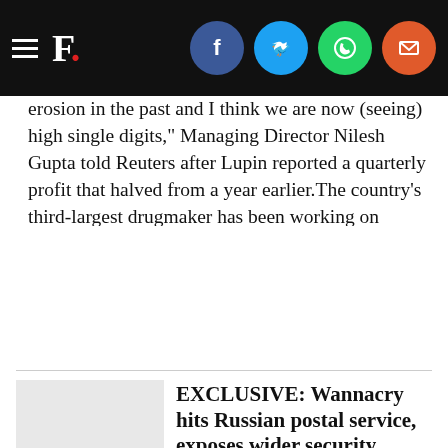Firstpost [navigation bar with social icons: Facebook, Twitter, WhatsApp, Email]
erosion in the past and I think we are now (seeing) high single digits," Managing Director Nilesh Gupta told Reuters after Lupin reported a quarterly profit that halved from a year earlier.The country's third-largest drugmaker has been working on building a pipeline of high-value complex generic drugs in the United States to offset growing competition in plain generics. But a consolidation among drug distributors has hit generic companies' ability to negotiate on prices, and price hikes have also become harder to justify amid regulatory scrutiny."Competition is increasing and (distributors) are getting more powerful than ever before," Gupta said. The company expects to launch more than 30 drugs this year, most of which would be small to medium-sized opportunities, with bigger, more lucrative launches planned for 2019, he added
[Figure (logo): Firstpost. logo on light grey background thumbnail]
EXCLUSIVE: Wannacry hits Russian postal service, exposes wider security shortcomings | Reuters
By Jack Stubbs | MOSCOW MOSCOW
Russia's postal service was hit by Wannacry